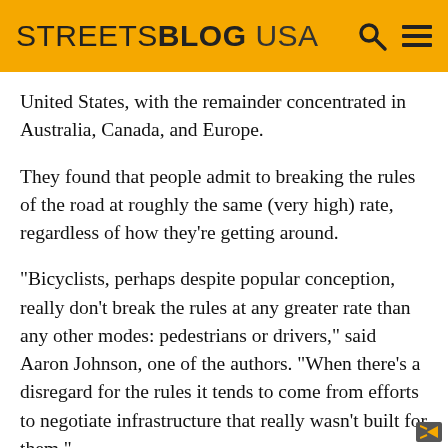STREETSBLOG USA
United States, with the remainder concentrated in Australia, Canada, and Europe.
They found that people admit to breaking the rules of the road at roughly the same (very high) rate, regardless of how they're getting around.
“Bicyclists, perhaps despite popular conception, really don’t break the rules at any greater rate than any other modes: pedestrians or drivers,” said Aaron Johnson, one of the authors. “When there’s a disregard for the rules it tends to come from efforts to negotiate infrastructure that really wasn’t built for them.”
Only participants who said they bike were surveyed